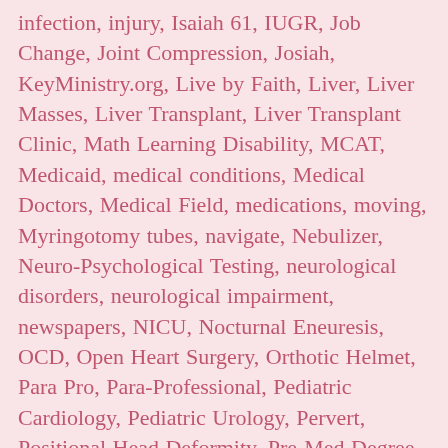infection, injury, Isaiah 61, IUGR, Job Change, Joint Compression, Josiah, KeyMinistry.org, Live by Faith, Liver, Liver Masses, Liver Transplant, Liver Transplant Clinic, Math Learning Disability, MCAT, Medicaid, medical conditions, Medical Doctors, Medical Field, medications, moving, Myringotomy tubes, navigate, Nebulizer, Neuro-Psychological Testing, neurological disorders, neurological impairment, newspapers, NICU, Nocturnal Eneuresis, OCD, Open Heart Surgery, Orthotic Helmet, Para Pro, Para-Professional, Pediatric Cardiology, Pediatric Urology, Pervert, Positional Head Deformity, Pre-Med Degree, pre-op, Pre-School, Premature, Prematurity, problems, process, Processing, Proprioceptive, Psalm 119, pure heart, Real World, Respite Care, RSV, Separation, Severe Learning Disability, Sick Child, Sleep Disorders, Social Isolation, Sound Field System, special education, Special Needs, Special Needs Family, Special Needs Mom, Special Needs Parent, Special Olympics, Specialists, SpecialNeedsParenting, Specific